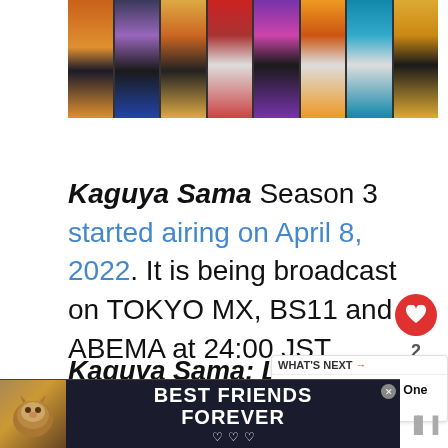[Figure (photo): Anime screenshot showing multiple panels of costumed/armored characters from an anime series, displayed in a horizontal strip]
Kaguya Sama Season 3 started airing on April 8, 2022. It is being broadcast on TOKYO MX, BS11 and ABEMA at 24:00 JST.
Kaguya Sama: Love Is War
manga series written and illustrated
[Figure (photo): Advertisement banner with a cat image and text 'BEST FRIENDS FOREVER']